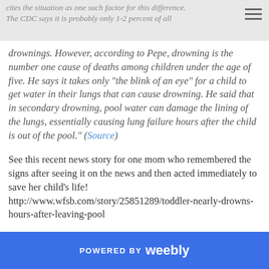cites the situation as one such factor for this difference. The CDC says it is probably only 1-2 percent of all drownings.
drownings. However, according to Pepe, drowning is the number one cause of deaths among children under the age of five. He says it takes only “the blink of an eye” for a child to get water in their lungs that can cause drowning. He said that in secondary drowning, pool water can damage the lining of the lungs, essentially causing lung failure hours after the child is out of the pool.” (Source)
See this recent news story for one mom who remembered the signs after seeing it on the news and then acted immediately to save her child's life! http://www.wfsb.com/story/25851289/toddler-nearly-drowns-hours-after-leaving-pool
POWERED BY weebly